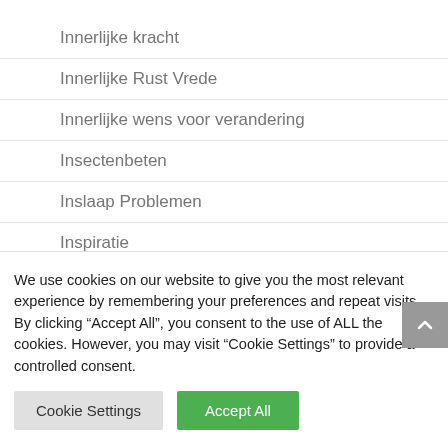Innerlijke kracht
Innerlijke Rust Vrede
Innerlijke wens voor verandering
Insectenbeten
Inslaap Problemen
Inspiratie
Inspiratie brengt flitsen van inspiratie die een leidraad vormen in het leven van hen die het licht zoeken
We use cookies on our website to give you the most relevant experience by remembering your preferences and repeat visits. By clicking “Accept All”, you consent to the use of ALL the cookies. However, you may visit “Cookie Settings” to provide a controlled consent.